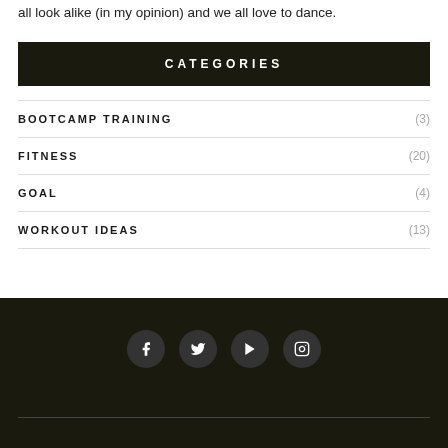all look alike (in my opinion) and we all love to dance.
CATEGORIES
BOOTCAMP TRAINING (3)
FITNESS (20)
GOAL (4)
WORKOUT IDEAS (13)
Social media icons: Facebook, Twitter, YouTube, Instagram